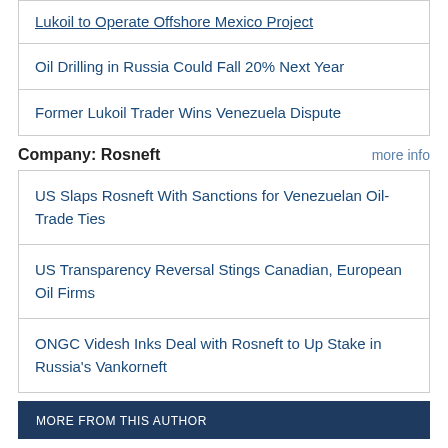Lukoil to Operate Offshore Mexico Project
Oil Drilling in Russia Could Fall 20% Next Year
Former Lukoil Trader Wins Venezuela Dispute
Company: Rosneft
US Slaps Rosneft With Sanctions for Venezuelan Oil-Trade Ties
US Transparency Reversal Stings Canadian, European Oil Firms
ONGC Videsh Inks Deal with Rosneft to Up Stake in Russia's Vankorneft
MORE FROM THIS AUTHOR
Bloomberg